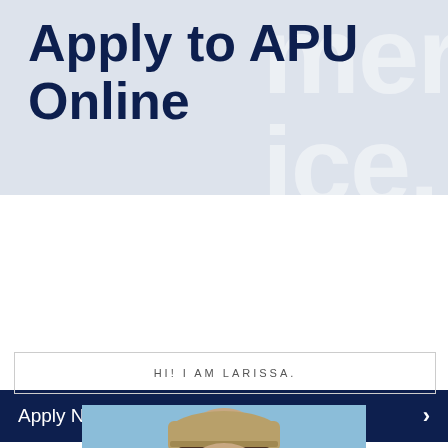[Figure (illustration): Light blue/gray banner with large text 'Apply to APU Online' in dark navy, and faint white watermark letters on the right side]
Apply Now >
Newer Post    Home    Older Post
LinkWithin
HI! I AM LARISSA.
[Figure (photo): Photo of a woman wearing a tan knit hat with bangs, against a blue sky background]